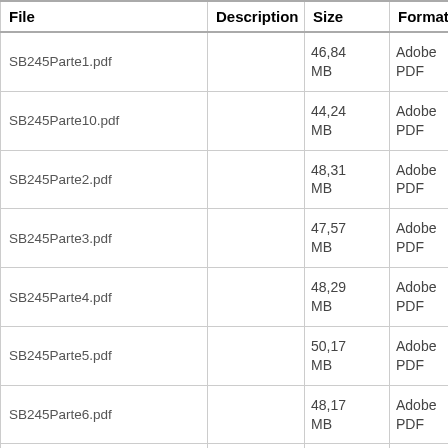| File | Description | Size | Format |  |
| --- | --- | --- | --- | --- |
| SB245Parte1.pdf |  | 46,84 MB | Adobe PDF | View/Open |
| SB245Parte10.pdf |  | 44,24 MB | Adobe PDF | View/Open |
| SB245Parte2.pdf |  | 48,31 MB | Adobe PDF | View/Open |
| SB245Parte3.pdf |  | 47,57 MB | Adobe PDF | View/Open |
| SB245Parte4.pdf |  | 48,29 MB | Adobe PDF | View/Open |
| SB245Parte5.pdf |  | 50,17 MB | Adobe PDF | View/Open |
| SB245Parte6.pdf |  | 48,17 MB | Adobe PDF | View/Open |
| SB245Parte7.pdf |  | 47,75 | Adobe | View/Open |